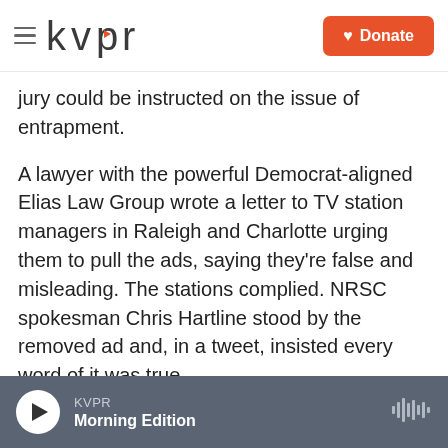KVPR | Donate
jury could be instructed on the issue of entrapment.
A lawyer with the powerful Democrat-aligned Elias Law Group wrote a letter to TV station managers in Raleigh and Charlotte urging them to pull the ads, saying they're false and misleading. The stations complied. NRSC spokesman Chris Hartline stood by the removed ad and, in a tweet, insisted every word of it was true.
Michael Bitzer is a political science professor at Catawba College, about 40 miles north of Charlotte. He says the negative ad is not that
KVPR | Morning Edition